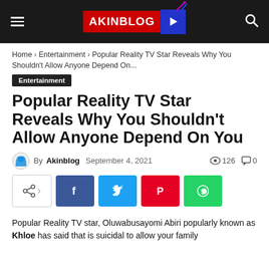AKINBLOG
Home › Entertainment › Popular Reality TV Star Reveals Why You Shouldn't Allow Anyone Depend On...
Entertainment
Popular Reality TV Star Reveals Why You Shouldn't Allow Anyone Depend On You
By Akinblog  September 4, 2021  👁 126  💬 0
[Figure (other): Social share buttons: generic share, Facebook, Twitter, Pinterest, WhatsApp]
Popular Reality TV star, Oluwabusayomi Abiri popularly known as Khloe has said that is suicidal to allow your family